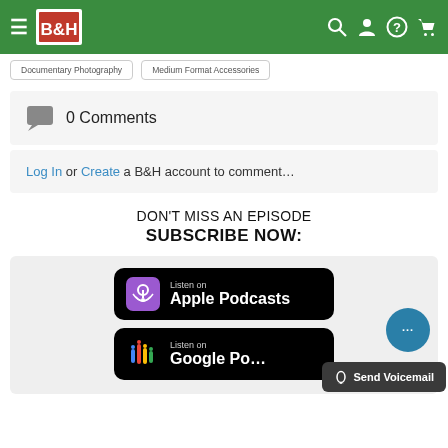[Figure (screenshot): B&H Photo Video website header with green background, hamburger menu, B&H logo, search, account, help, and cart icons]
Documentary Photography  |  Medium Format Accessories
0 Comments
Log In or Create a B&H account to comment…
DON'T MISS AN EPISODE
SUBSCRIBE NOW:
[Figure (screenshot): Listen on Apple Podcasts badge (black rounded rectangle with purple podcast icon)]
[Figure (screenshot): Listen on Google Podcasts badge (black rounded rectangle with Google Podcasts colorful icon), partially overlapped by Send Voicemail button]